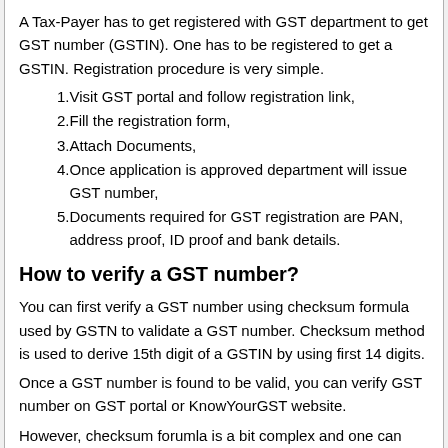A Tax-Payer has to get registered with GST department to get GST number (GSTIN). One has to be registered to get a GSTIN. Registration procedure is very simple.
Visit GST portal and follow registration link,
Fill the registration form,
Attach Documents,
Once application is approved department will issue GST number,
Documents required for GST registration are PAN, address proof, ID proof and bank details.
How to verify a GST number?
You can first verify a GST number using checksum formula used by GSTN to validate a GST number. Checksum method is used to derive 15th digit of a GSTIN by using first 14 digits.
Once a GST number is found to be valid, you can verify GST number on GST portal or KnowYourGST website.
However, checksum forumla is a bit complex and one can directly verify GST number on many websites available on internet. Tikshare has released windows98 based software to help search GST number using name, pan of